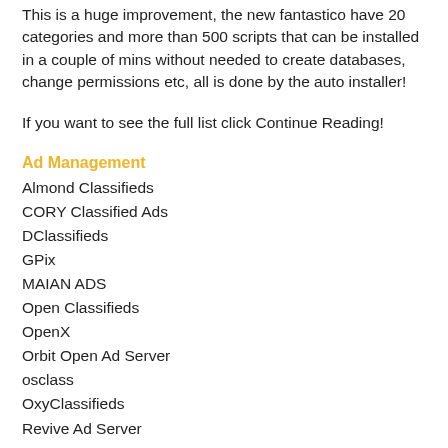This is a huge improvement, the new fantastico have 20 categories and more than 500 scripts that can be installed in a couple of mins without needed to create databases, change permissions etc, all is done by the auto installer!
If you want to see the full list click Continue Reading!
Ad Management
Almond Classifieds
CORY Classified Ads
DClassifieds
GPix
MAIAN ADS
Open Classifieds
OpenX
Orbit Open Ad Server
osclass
OxyClassifieds
Revive Ad Server